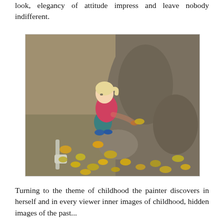look, elegancy of attitude impress and leave nobody indifferent.
[Figure (photo): A young blonde girl in a pink shirt and teal pants squatting beside the base of a large tree trunk, touching yellow autumn leaves scattered on the ground.]
Turning to the theme of childhood the painter discovers in herself and in every viewer inner images of childhood, hidden images of the past...